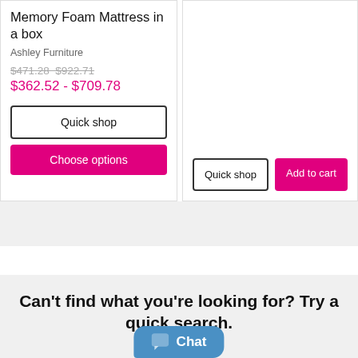Memory Foam Mattress in a box
Ashley Furniture
$471.28  $922.71
$362.52 - $709.78
Quick shop
Choose options
Quick shop
Add to cart
Can't find what you're looking for? Try a quick search.